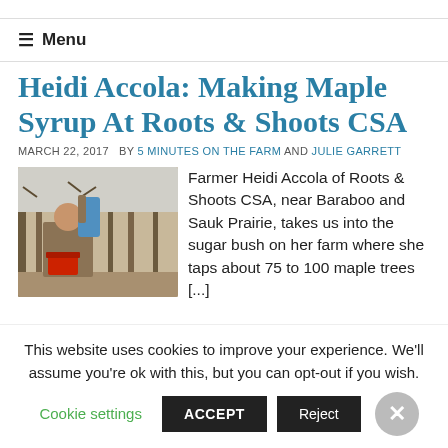≡ Menu
Heidi Accola: Making Maple Syrup At Roots & Shoots CSA
MARCH 22, 2017  BY 5 MINUTES ON THE FARM AND JULIE GARRETT
[Figure (photo): A woman holding a blue bag outdoors in a sugar bush with trees in the background and a red bucket visible.]
Farmer Heidi Accola of Roots & Shoots CSA, near Baraboo and Sauk Prairie, takes us into the sugar bush on her farm where she taps about 75 to 100 maple trees [...]
This website uses cookies to improve your experience. We'll assume you're ok with this, but you can opt-out if you wish.
Cookie settings  ACCEPT  Reject